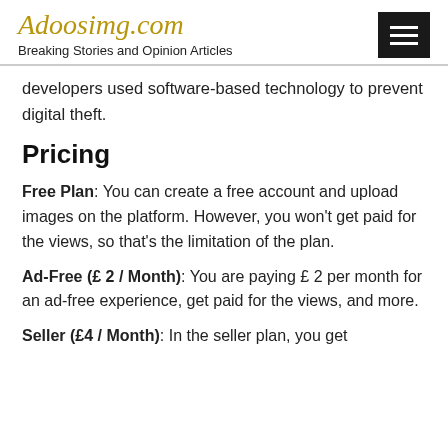Adoosimg.com — Breaking Stories and Opinion Articles
developers used software-based technology to prevent digital theft.
Pricing
Free Plan: You can create a free account and upload images on the platform. However, you won't get paid for the views, so that's the limitation of the plan.
Ad-Free (£ 2 / Month): You are paying £ 2 per month for an ad-free experience, get paid for the views, and more.
Seller (£4 / Month): In the seller plan, you get